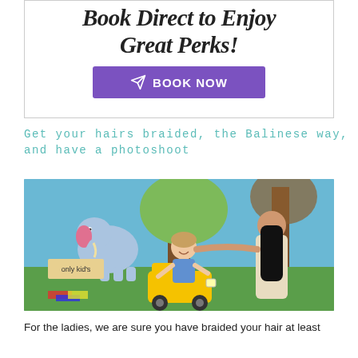Book Direct to Enjoy Great Perks!
[Figure (other): Purple 'BOOK NOW' button with paper plane arrow icon]
Get your hairs braided, the Balinese way, and have a photoshoot
[Figure (photo): A young girl smiling while a Balinese woman braids her hair. The girl sits on a yellow toy vehicle in front of a painted mural with a cartoon elephant and tree. A sign reads 'only kid's'.]
For the ladies, we are sure you have braided your hair at least